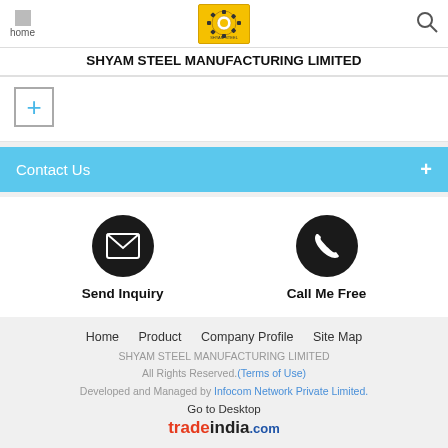home | SHYAM STEEL MANUFACTURING LIMITED
[Figure (logo): Shyam Steel Manufacturing Limited logo - yellow/gold circular gear logo]
SHYAM STEEL MANUFACTURING LIMITED
Contact Us
Send Inquiry
Call Me Free
Home   Product   Company Profile   Site Map
SHYAM STEEL MANUFACTURING LIMITED
All Rights Reserved.(Terms of Use)
Developed and Managed by Infocom Network Private Limited.
Go to Desktop
tradeindia.com